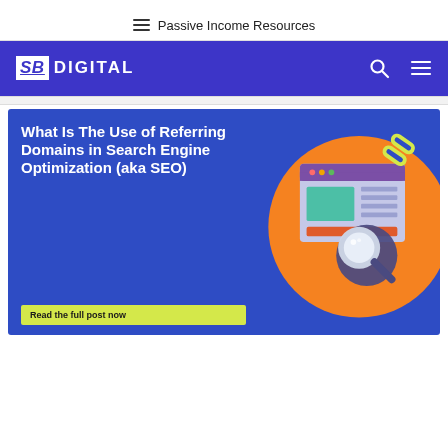☰ Passive Income Resources
SB DIGITAL
[Figure (illustration): Blue promotional banner with white bold text reading 'What Is The Use of Referring Domains in Search Engine Optimization (aka SEO)' with a yellow CTA button 'Read the full post now' and an orange circle graphic with a magnifying glass, document illustration, and yellow chain-link icon on the right side.]